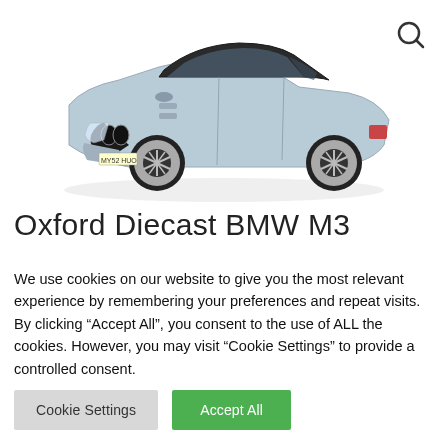[Figure (photo): A silver/blue metallic diecast model of a BMW M3 sedan with black roof and alloy wheels, photographed on a white background. A search/magnify icon is visible in the top-right corner.]
Oxford Diecast BMW M3
We use cookies on our website to give you the most relevant experience by remembering your preferences and repeat visits. By clicking “Accept All”, you consent to the use of ALL the cookies. However, you may visit "Cookie Settings" to provide a controlled consent.
Cookie Settings
Accept All